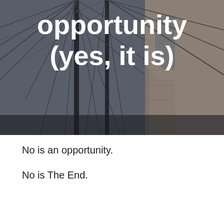[Figure (photo): Upward-looking photo of Brooklyn Bridge cables, stone arch tower, and gray sky, with large white bold text overlay reading 'opportunity (yes, it is)']
opportunity (yes, it is)
No is an opportunity.
No is The End.